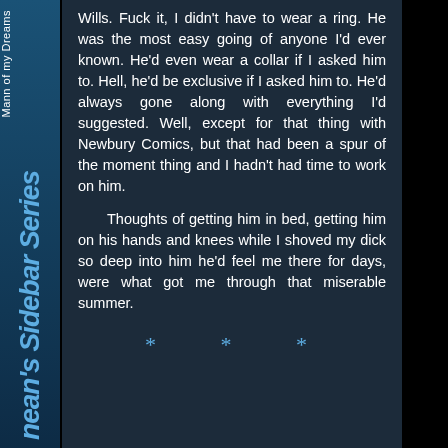Mann of my Dreams — nean's Sidebar Series
Wills. Fuck it, I didn't have to wear a ring. He was the most easy going of anyone I'd ever known. He'd even wear a collar if I asked him to. Hell, he'd be exclusive if I asked him to. He'd always gone along with everything I'd suggested. Well, except for that thing with Newbury Comics, but that had been a spur of the moment thing and I hadn't had time to work on him.
Thoughts of getting him in bed, getting him on his hands and knees while I shoved my dick so deep into him he'd feel me there for days, were what got me through that miserable summer.
* * *